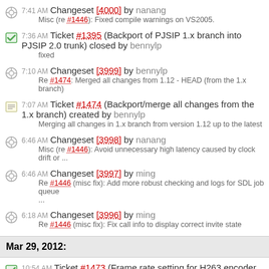7:41 AM Changeset [4000] by nanang
Misc (re #1446): Fixed compile warnings on VS2005.
7:36 AM Ticket #1395 (Backport of PJSIP 1.x branch into PJSIP 2.0 trunk) closed by bennylp
fixed
7:10 AM Changeset [3999] by bennylp
Re #1474: Merged all changes from 1.12 - HEAD (from the 1.x branch)
7:07 AM Ticket #1474 (Backport/merge all changes from the 1.x branch) created by bennylp
Merging all changes in 1.x branch from version 1.12 up to the latest
6:46 AM Changeset [3998] by nanang
Misc (re #1446): Avoid unnecessary high latency caused by clock drift or ...
6:46 AM Changeset [3997] by ming
Re #1446 (misc fix): Add more robust checking and logs for SDL job queue ...
6:18 AM Changeset [3996] by ming
Re #1446 (misc fix): Fix call info to display correct invite state
Mar 29, 2012:
10:54 AM Ticket #1473 (Frame rate setting for H263 encoder is ignored) closed by nanang
fixed: (In [3995]) Fix #1473: Fixed H263 encoder setting negotiation in